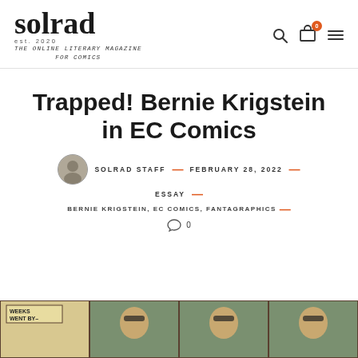solrad est. 2020 THE ONLINE LITERARY MAGAZINE FOR COMICS
Trapped! Bernie Krigstein in EC Comics
SOLRAD STAFF — FEBRUARY 28, 2022 — ESSAY — BERNIE KRIGSTEIN, EC COMICS, FANTAGRAPHICS — 0
[Figure (photo): Comic strip panels showing a character with sunglasses, partially visible at the bottom of the page. First panel has text 'WEEKS WENT BY-']